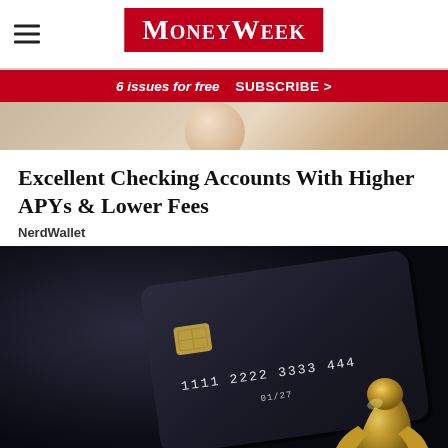MoneyWeek
6 issues for free  SUBSCRIBE >
[Figure (photo): Cropped photo of a person, likely showing someone's face/upper body, warm toned]
Excellent Checking Accounts With Higher APYs & Lower Fees
NerdWallet
[Figure (photo): Dark background photo of a black credit card with numbers 1111 2222 3333 444... and expiry 01/27, held by a gold metallic hand or figurine]